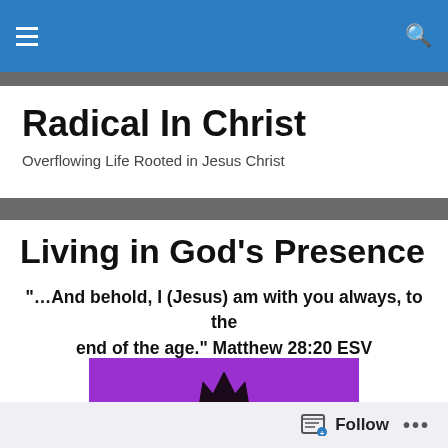Navigation bar with menu and search icons
Radical In Christ
Overflowing Life Rooted in Jesus Christ
Living in God’s Presence
“…And behold, I (Jesus) am with you always, to the end of the age.” Matthew 28:20 ESV
[Figure (illustration): Purple background image with a crown icon and the word KEEP at the bottom, styled in the 'Keep Calm and Carry On' poster style]
Follow   …